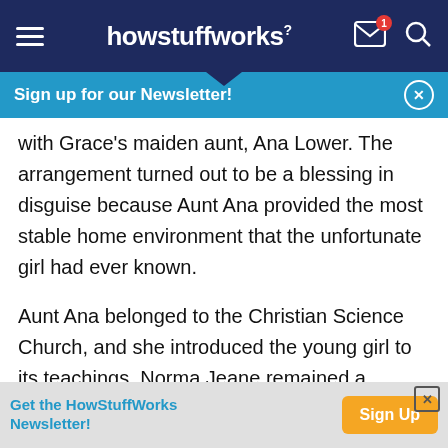howstuffworks
Sign up for our Newsletter!
with Grace's maiden aunt, Ana Lower. The arrangement turned out to be a blessing in disguise because Aunt Ana provided the most stable home environment that the unfortunate girl had ever known.
Aunt Ana belonged to the Christian Science Church, and she introduced the young girl to its teachings. Norma Jeane remained a Christian Scientist for over eight years, marking her only lasting religious
Get the HowStuffWorks Newsletter! Sign Up